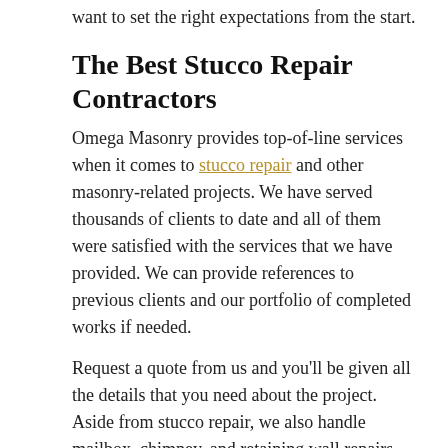want to set the right expectations from the start.
The Best Stucco Repair Contractors
Omega Masonry provides top-of-line services when it comes to stucco repair and other masonry-related projects. We have served thousands of clients to date and all of them were satisfied with the services that we have provided. We can provide references to previous clients and our portfolio of completed works if needed.
Request a quote from us and you'll be given all the details that you need about the project. Aside from stucco repair, we also handle mailbox, chimney, and retaining wall repairs. We install outdoor fireplaces, fire pits, built-in grills, and patios as well. Our team can also handle most types of concrete work. To know if your project is something that we can handle, simply call us today.
Stucco repair may seem to be a simple project but it may